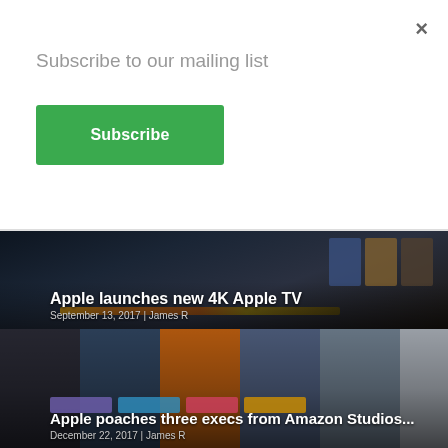Subscribe to our mailing list
Subscribe
[Figure (screenshot): Article card: Apple launches new 4K Apple TV, dark background with TV interface screenshot]
Apple launches new 4K Apple TV
September 13, 2017 | James R
[Figure (screenshot): Article card: Apple poaches three execs from Amazon Studios..., background showing movie cover thumbnails]
Apple poaches three execs from Amazon Studios...
December 22, 2017 | James R
[Figure (screenshot): Article card: VOD film review: Shin Godzilla, dark dramatic movie scene]
VOD film review: Shin Godzilla
April 11, 2018 | Ivan